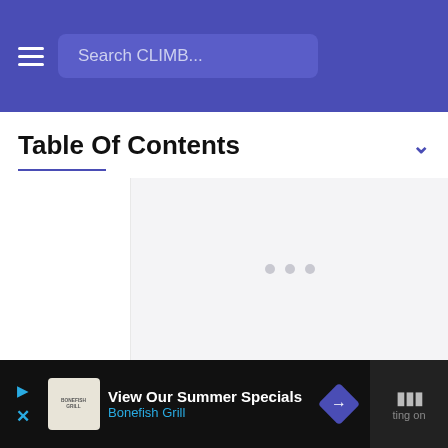Search CLIMB...
Table Of Contents
[Figure (screenshot): Main content area with left sidebar and gray main panel with loading indicator dots]
View Our Summer Specials
Bonefish Grill